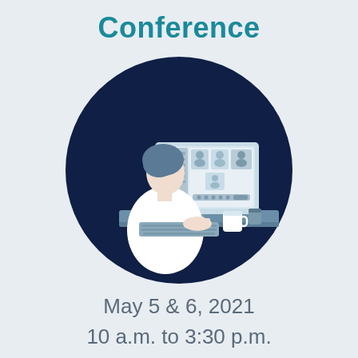Conference
[Figure (illustration): Illustration of a person sitting at a desk with a computer monitor showing a video conference with multiple participants. The person has a blue hat and white top, typing on a keyboard with a mug on the desk. The scene is set inside a dark navy blue circle.]
May 5 & 6, 2021
10 a.m. to 3:30 p.m.